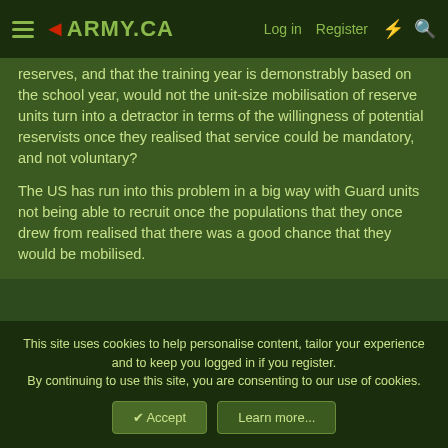ARMY.CA — Log in | Register
reserves, and that the training year is demonstrably based on the school year, would not the unit-size mobilisation of reserve units turn into a detractor in terms of the willingness of potential reservists once they realised that service could be mandatory, and not voluntary?

The US has run into this problem in a big way with Guard units not being able to recruit once the populations that they once drew from realised that there was a good chance that they would be mobilised.
Matt_Fisher
Army.ca Veteran
This site uses cookies to help personalise content, tailor your experience and to keep you logged in if you register.
By continuing to use this site, you are consenting to our use of cookies.